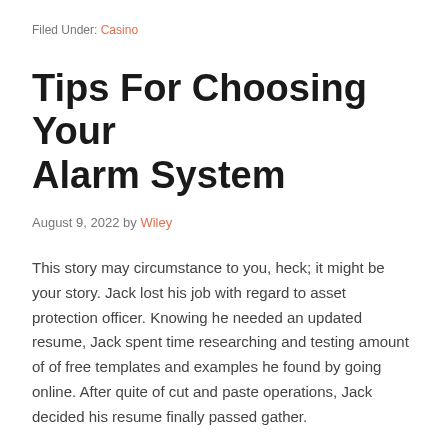Filed Under: Casino
Tips For Choosing Your Alarm System
August 9, 2022 by Wiley
This story may circumstance to you, heck; it might be your story. Jack lost his job with regard to asset protection officer. Knowing he needed an updated resume, Jack spent time researching and testing amount of of free templates and examples he found by going online. After quite of cut and paste operations, Jack decided his resume finally passed gather.
I understand sounds crazy, but the truth is. Right now is